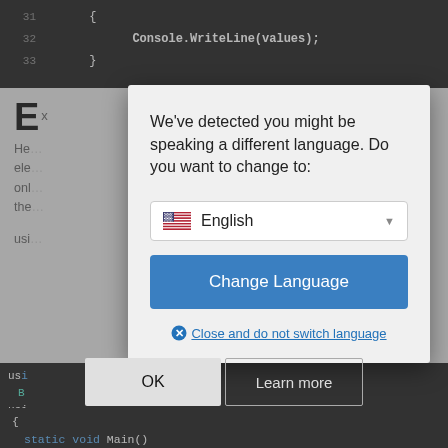[Figure (screenshot): Code editor background showing C# code with line numbers 31-33]
We've detected you might be speaking a different language. Do you want to change to:
[Figure (screenshot): Dropdown selector showing English with US flag]
Change Language
Close and do not switch language
OK
Learn more